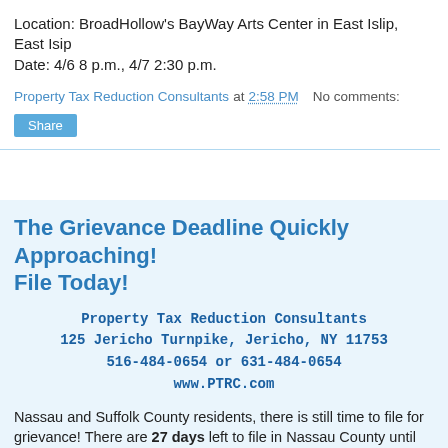Location: BroadHollow's BayWay Arts Center in East Islip, East Isip
Date: 4/6 8 p.m., 4/7 2:30 p.m.
Property Tax Reduction Consultants at 2:58 PM   No comments:
Share
The Grievance Deadline Quickly Approaching! File Today!
Property Tax Reduction Consultants
125 Jericho Turnpike, Jericho, NY 11753
516-484-0654 or 631-484-0654
www.PTRC.com
Nassau and Suffolk County residents, there is still time to file for grievance! There are 27 days left to file in Nassau County until the May 1st deadline approaches. The deadline